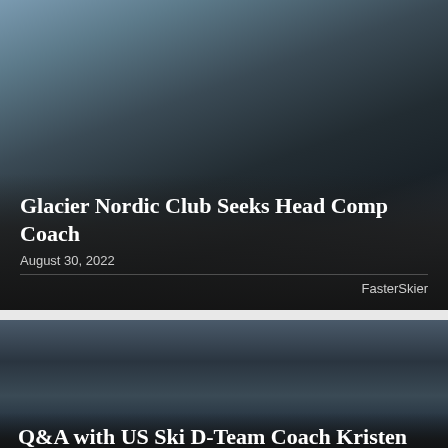[Figure (photo): Nordic skiers racing in a group, wearing numbered bibs (143, 146, 151, 145, 150, 152), ski poles visible, winter outdoor setting with trees]
Glacier Nordic Club Seeks Head Comp Coach
August 30, 2022
FasterSkier
[Figure (photo): Four female athletes smiling together in front of what appears to be a race venue or trailer, wearing winter gear and hats, US flag visible in background]
Q&A with US Ski D-Team Coach Kristen